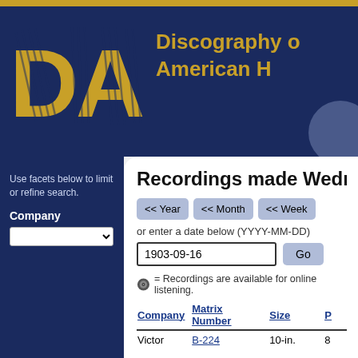[Figure (logo): DAHR logo with golden stylized letters on dark navy background, with text 'Discography of American Historical Recordings' to the right]
Recordings made Wednesday
Use facets below to limit or refine search.
Company
or enter a date below (YYYY-MM-DD)
1903-09-16
= Recordings are available for online listening.
| Company | Matrix Number | Size | P |
| --- | --- | --- | --- |
| Victor | B-224 | 10-in. | 8 |